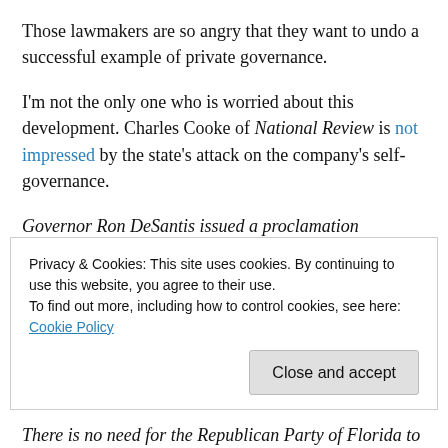Those lawmakers are so angry that they want to undo a successful example of private governance.
I'm not the only one who is worried about this development. Charles Cooke of National Review is not impressed by the state's attack on the company's self-governance.
Governor Ron DeSantis issued a proclamation instructing a special session of the Florida legislature to review whether Walt Disney World's 50-year-old “independent special district” status should be rescinded now that the
Privacy & Cookies: This site uses cookies. By continuing to use this website, you agree to their use.
To find out more, including how to control cookies, see here: Cookie Policy
There is no need for the Republican Party of Florida to